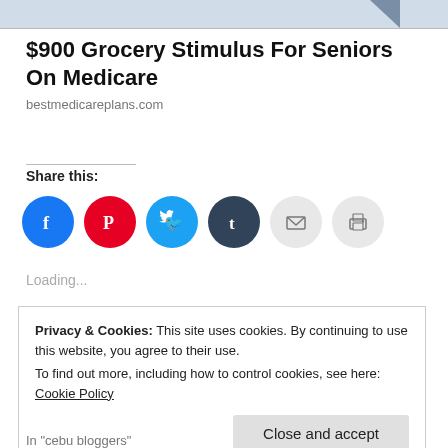[Figure (photo): Top strip of a partially visible image, light blue-gray with a dark diagonal shape at upper right]
$900 Grocery Stimulus For Seniors On Medicare
bestmedicareplans.com
Share this:
[Figure (infographic): Six social share icon circles: Facebook (blue), Pinterest (red), Twitter (light blue), Tumblr (dark slate), Email (light gray), Print (light gray)]
Loading...
Privacy & Cookies: This site uses cookies. By continuing to use this website, you agree to their use.
To find out more, including how to control cookies, see here: Cookie Policy
In "cebu bloggers"